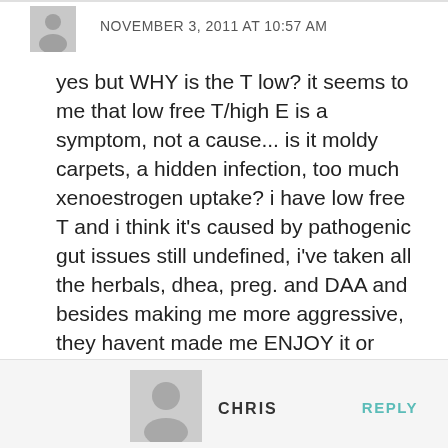NOVEMBER 3, 2011 AT 10:57 AM
yes but WHY is the T low? it seems to me that low free T/high E is a symptom, not a cause... is it moldy carpets, a hidden infection, too much xenoestrogen uptake? i have low free T and i think it's caused by pathogenic gut issues still undefined, i've taken all the herbals, dhea, preg. and DAA and besides making me more aggressive, they havent made me ENJOY it or increase libido. plus theres the lack of strength, energy, and creativity, so there's more to the puzzle than this.
CHRIS
REPLY